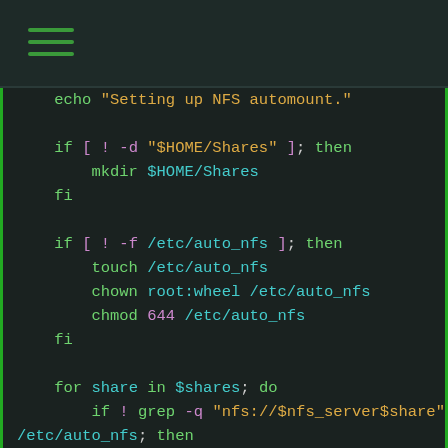[Figure (screenshot): Dark-themed terminal/code editor showing a shell script snippet with NFS automount setup code, syntax highlighted in green, cyan, yellow, and purple]
echo "Setting up NFS automount."

if [ ! -d "$HOME/Shares" ]; then
    mkdir $HOME/Shares
fi

if [ ! -f /etc/auto_nfs ]; then
    touch /etc/auto_nfs
    chown root:wheel /etc/auto_nfs
    chmod 644 /etc/auto_nfs
fi

for share in $shares; do
    if ! grep -q "nfs://$nfs_server$share" /etc/auto_nfs; then
        echo "$(basename $share) nfs://$nfs_server$share" \